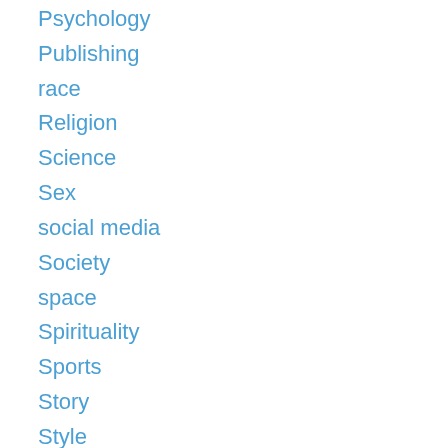Psychology
Publishing
race
Religion
Science
Sex
social media
Society
space
Spirituality
Sports
Story
Style
Sufi
Sufism
Syria
Taoism
Technology
Television
Theater